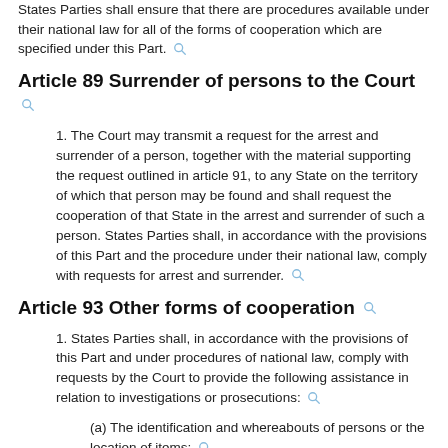States Parties shall ensure that there are procedures available under their national law for all of the forms of cooperation which are specified under this Part.
Article 89 Surrender of persons to the Court
1. The Court may transmit a request for the arrest and surrender of a person, together with the material supporting the request outlined in article 91, to any State on the territory of which that person may be found and shall request the cooperation of that State in the arrest and surrender of such a person. States Parties shall, in accordance with the provisions of this Part and the procedure under their national law, comply with requests for arrest and surrender.
Article 93 Other forms of cooperation
1. States Parties shall, in accordance with the provisions of this Part and under procedures of national law, comply with requests by the Court to provide the following assistance in relation to investigations or prosecutions:
(a) The identification and whereabouts of persons or the location of items;